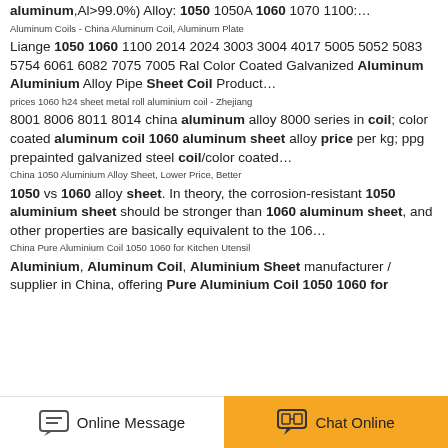aluminum,Al>99.0%) Alloy: 1050 1050A 1060 1070 1100:…
Aluminum Coils - China Aluminum Coil, Aluminum Plate
Liange 1050 1060 1100 2014 2024 3003 3004 4017 5005 5052 5083 5754 6061 6082 7075 7005 Ral Color Coated Galvanized Aluminum Aluminium Alloy Pipe Sheet Coil Product…
prices 1060 h24 sheet metal roll aluminium coil - Zhejiang
8001 8006 8011 8014 china aluminum alloy 8000 series in coil; color coated aluminum coil 1060 aluminum sheet alloy price per kg; ppg prepainted galvanized steel coil/color coated…
China 1050 Aluminium Alloy Sheet, Lower Price, Better
1050 vs 1060 alloy sheet. In theory, the corrosion-resistant 1050 aluminium sheet should be stronger than 1060 aluminum sheet, and other properties are basically equivalent to the 106…
China Pure Aluminium Coil 1050 1060 for Kitchen Utensil
Aluminium, Aluminum Coil, Aluminium Sheet manufacturer / supplier in China, offering Pure Aluminium Coil 1050 1060 for
Online Message   Chat Online